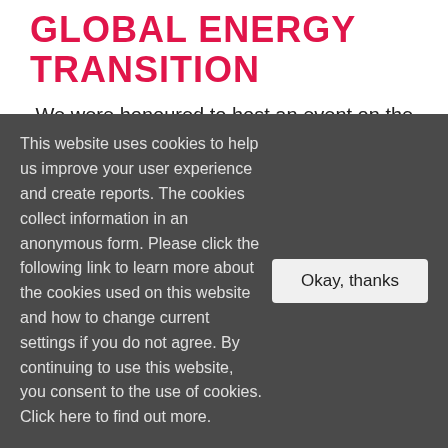GLOBAL ENERGY TRANSITION
We were honoured to host an event on the UK Pavilion in partnership with BEIS and FCDO to explore how gender diversity and inclusion is central to a successful clean...
This website uses cookies to help us improve your user experience and create reports. The cookies collect information in an anonymous form. Please click the following link to learn more about the cookies used on this website and how to change current settings if you do not agree. By continuing to use this website, you consent to the use of cookies. Click here to find out more.